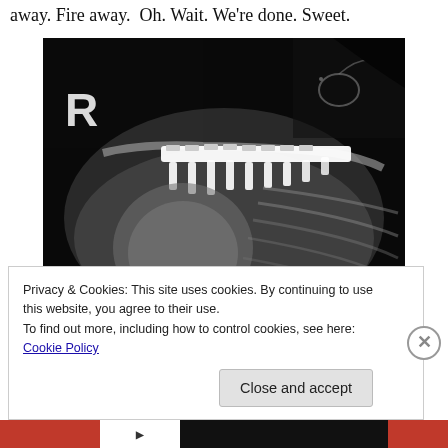away. Fire away. Oh. Wait. We're done. Sweet.
[Figure (photo): X-ray image of a shoulder/clavicle with a surgical metal plate and screws fixation device visible on the clavicle bone. The letter 'R' marker is visible in the upper left of the x-ray. A small wire loop is visible in the upper right area.]
Privacy & Cookies: This site uses cookies. By continuing to use this website, you agree to their use.
To find out more, including how to control cookies, see here: Cookie Policy
Close and accept